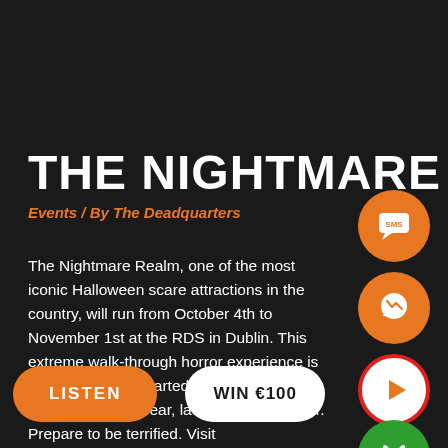THE NIGHTMARE REALM
Events / By The Deadquarters
The Nightmare Realm, one of the most iconic Halloween scare attractions in the country, will run from October 4th to November 1st at the RDS in Dublin. This extreme walk-through horror experience is not for the faint-hearted, promising to blur the line between fear, laughter and despair. Prepare to be terrified. Visit www.nightmarerealm.ie for more details.
[Figure (other): SMS chat bubble icon button (orange circle)]
[Figure (other): Messenger icon button (orange circle)]
[Figure (other): Play button icon (white circle with red border and orange play triangle)]
[Figure (other): Close/X button (green circle with white X)]
LISTEN
WIN €100